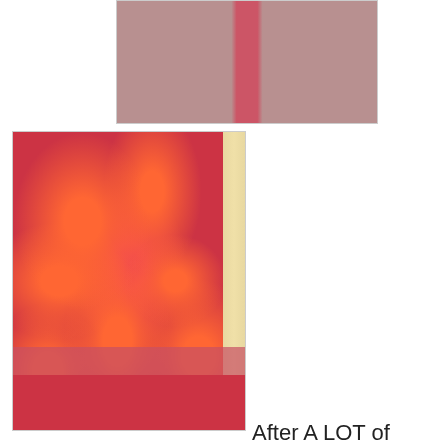[Figure (photo): Close-up photo of pink fabric with a vertical seam or stripe, showing a light pink/mauve background with a darker pink/red strip in the center]
[Figure (photo): Close-up photo of red floral patterned fabric (appears to be a children's garment with orange flower/butterfly prints on red background), with a striped fabric visible on the right side and red lining/fabric at the bottom]
After A LOT of